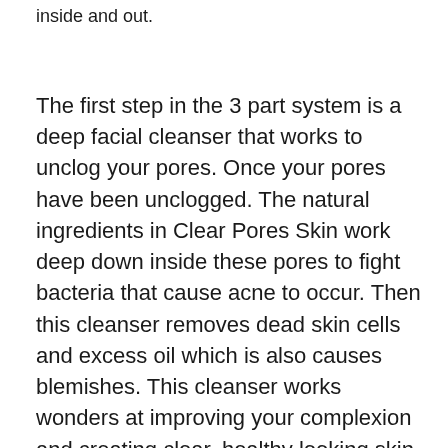inside and out.
The first step in the 3 part system is a deep facial cleanser that works to unclog your pores. Once your pores have been unclogged. The natural ingredients in Clear Pores Skin work deep down inside these pores to fight bacteria that cause acne to occur. Then this cleanser removes dead skin cells and excess oil which is also causes blemishes. This cleanser works wonders at improving your complexion and creating clear, healthy looking skin.